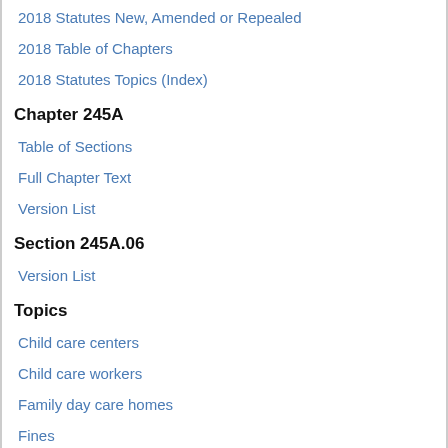2018 Statutes New, Amended or Repealed
2018 Table of Chapters
2018 Statutes Topics (Index)
Chapter 245A
Table of Sections
Full Chapter Text
Version List
Section 245A.06
Version List
Topics
Child care centers
Child care workers
Family day care homes
Fines
Home and community-based services waivers
Human services